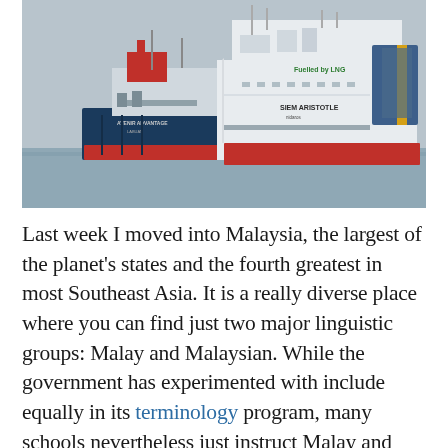[Figure (photo): A photo of two large ships at sea. The larger white ship on the right is labeled 'SIEM ARISTOTLE' with text 'Fuelled by LNG' on its side. The smaller blue and red ship on the left is labeled 'AVENIR ADVANTAGE' and 'LABUAN'. The ships appear to be docked side by side in calm grey water under an overcast sky.]
Last week I moved into Malaysia, the largest of the planet's states and the fourth greatest in most Southeast Asia. It is a really diverse place where you can find just two major linguistic groups: Malay and Malaysian. While the government has experimented with include equally in its terminology program, many schools nevertheless just instruct Malay and Malays and don't teach every other terminology. The outcome is that over one thousand individuals from the two